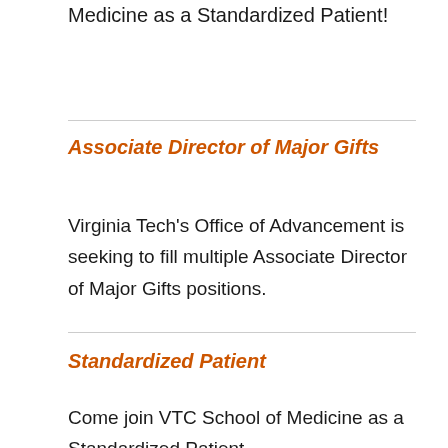Medicine as a Standardized Patient!
Associate Director of Major Gifts
Virginia Tech's Office of Advancement is seeking to fill multiple Associate Director of Major Gifts positions.
Standardized Patient
Come join VTC School of Medicine as a Standardized Patient...